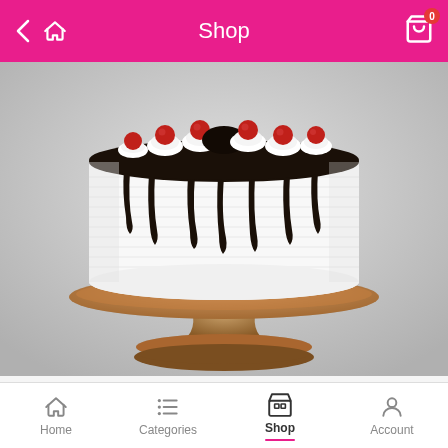Shop
[Figure (photo): Black Forest Cake on a wooden cake stand. The round cake has white frosting with chocolate drip around the top and sides, topped with whipped cream rosettes and red cherries.]
Black Forest Cake
Home | Categories | Shop | Account